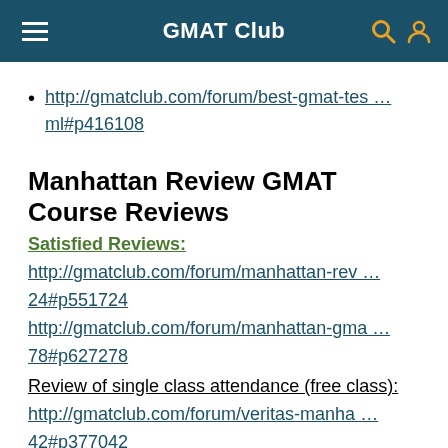GMAT Club
http://gmatclub.com/forum/best-gmat-tes … ml#p416108
Manhattan Review GMAT Course Reviews
Satisfied Reviews:
http://gmatclub.com/forum/manhattan-rev … 24#p551724
http://gmatclub.com/forum/manhattan-gma … 78#p627278
Review of single class attendance (free class):
http://gmatclub.com/forum/veritas-manha … 42#p377042
GMAX Online GMAT Course
Special Offer: $199 for the math- or verbal-only courses